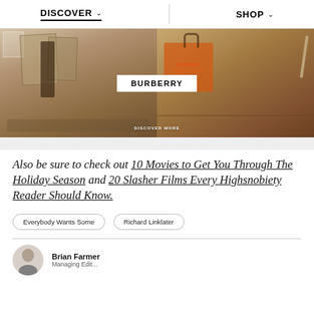DISCOVER  SHOP
[Figure (photo): Burberry brand advertisement showing a person in a brown coat in an art studio on the left, and Burberry branded bags/items on the right, with a white BURBERRY badge in the center and DISCOVER MORE text overlay at the bottom.]
Also be sure to check out 10 Movies to Get You Through The Holiday Season and 20 Slasher Films Every Highsnobiety Reader Should Know.
Everybody Wants Some
Richard Linklater
Brian Farmer
Managing Edit...